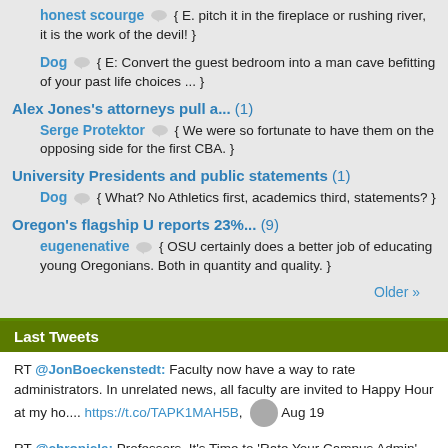honest scourge { E. pitch it in the fireplace or rushing river, it is the work of the devil! }
Dog { E: Convert the guest bedroom into a man cave befitting of your past life choices ... }
Alex Jones's attorneys pull a... (1)
Serge Protektor { We were so fortunate to have them on the opposing side for the first CBA. }
University Presidents and public statements (1)
Dog { What? No Athletics first, academics third, statements? }
Oregon's flagship U reports 23%... (9)
eugenenative { OSU certainly does a better job of educating young Oregonians. Both in quantity and quality. }
Older »
Last Tweets
RT @JonBoeckenstedt: Faculty now have a way to rate administrators. In unrelated news, all faculty are invited to Happy Hour at my ho.... https://t.co/TAPK1MAH5B, Aug 19
RT @chronicle: Professors, It's Time to 'Rate Your Campus Admin'